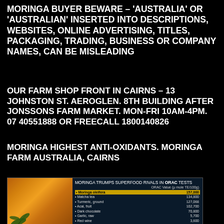MORINGA BUYER BEWARE – 'AUSTRALIA' OR 'AUSTRALIAN' INSERTED INTO DESCRIPTIONS, WEBSITES, ONLINE ADVERTISING, TITLES, PACKAGING, TRADING, BUSINESS OR COMPANY NAMES, CAN BE MISLEADING
OUR FARM SHOP FRONT IN CAIRNS – 13 JOHNSTON ST. AEROGLEN. 8TH BUILDING AFTER JONSSONS FARM MARKET. MON-FRI 10AM-4PM. 07 40551888 OR FREECALL 1800140826
MORINGA HIGHEST ANTI-OXIDANTS. MORINGA FARM AUSTRALIA, CAIRNS
[Figure (table-as-image): Infographic table titled 'MORINGA TRUMPS SUPERFOOD RIVALS IN ORAC TESTS' showing ORAC Value (µ mole TE/100g) for various foods. Moringa oleifera highlighted in yellow: 157,000. Matcha tea: 134,800. Turmeric, ground: 127,068. Acai, fruit: 102,700. Dark chocolate: 70,800. Garlic, raw: 5,700. Red wine: 3,600. Green tea: (partial). Background shows a cup of tea with moringa leaves.]